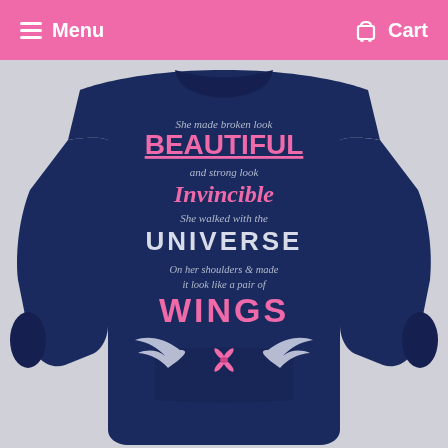Menu  Cart
[Figure (photo): Back view of a navy blue sweatshirt/hoodie with inspirational breast cancer awareness quote printed on the back. The text reads: 'She made broken look BEAUTIFUL and strong look INVINCIBLE She walked with the UNIVERSE On her shoulders & made it look like a pair of WINGS' with a pair of wings and pink ribbon graphic below the text.]